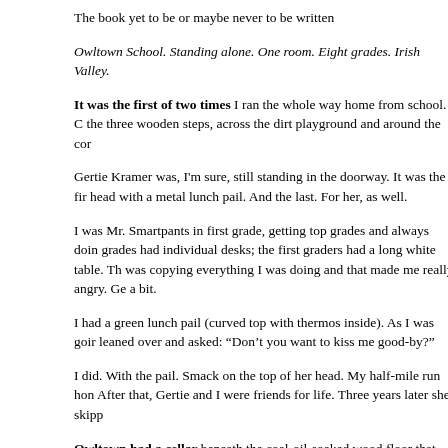The book yet to be or maybe never to be written
Owltown School. Standing alone. One room. Eight grades. Irish Valley.
It was the first of two times I ran the whole way home from school. C the three wooden steps, across the dirt playground and around the cor
Gertie Kramer was, I'm sure, still standing in the doorway. It was the fir head with a metal lunch pail. And the last. For her, as well.
I was Mr. Smartpants in first grade, getting top grades and always doin grades had individual desks; the first graders had a long white table. Th was copying everything I was doing and that made me really angry. Ge a bit.
I had a green lunch pail (curved top with thermos inside). As I was goir leaned over and asked: “Don’t you want to kiss me good-by?”
I did. With the pail. Smack on the top of her head. My half-mile run hon After that, Gertie and I were friends for life. Three years later she skipp
Owltown had a cellar beneath the coal-oil-soaked wood floor that was couldn’t get into it. Well, not unless you were baby- or critter-sized and bricks were missing from the foundation wall on the side next to the gir in that underwhere, filled mostly with unending tales and unknown tails coarse screens that could only be opened from the inside. The screen long ago came through and lodged in the blackboard across the room. blackboard, except for putty that had dried and shrunk, leaving an inch
In front of one window next to the only door was the potbelly stove th anyone near it) while trying to keep us warm in the winter. Every Wed